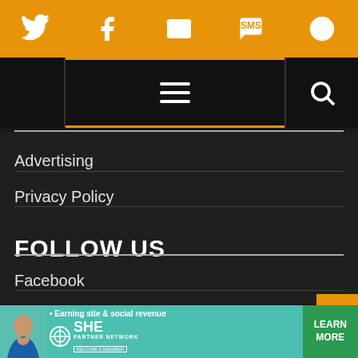[Figure (screenshot): Orange navigation bar with social media icons: Twitter bird, Facebook f, envelope/email, SMS speech bubble, circular arrow icon]
[Figure (screenshot): Black navigation bar with hamburger menu icon (three horizontal lines) in center and search magnifying glass icon on right]
Advertising
Privacy Policy
FOLLOW US
Facebook
Twitter
[Figure (infographic): SHE Partner Network advertisement banner with teal background, woman photo, text '• Earning site & social revenue', SHE PARTNER NETWORK BECOME A MEMBER logo, and green LEARN MORE button]